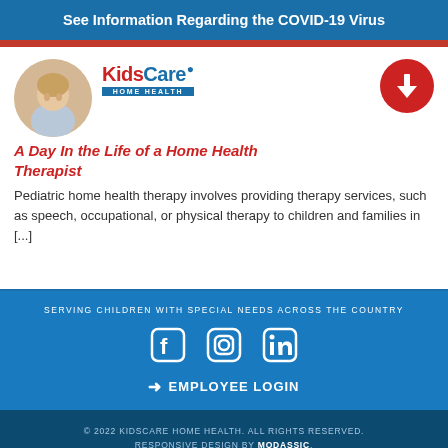See Information Regarding the COVID-19 Virus
[Figure (logo): KidsCare Home Health logo with circular photo of woman]
A Day In the Life of a Home Health Therapist
Pediatric home health therapy involves providing therapy services, such as speech, occupational, or physical therapy to children and families in [...]
SERVING CHILDREN WITH SPECIAL NEEDS ACROSS THE COUNTRY
[Figure (infographic): Social media icons: Facebook, Instagram, LinkedIn]
➜ EMPLOYEE LOGIN
© 2022 KIDSCARE HOME HEALTH. ALL RIGHTS RESERVED. RESPONSIVE DESIGN BY MODASSIC.